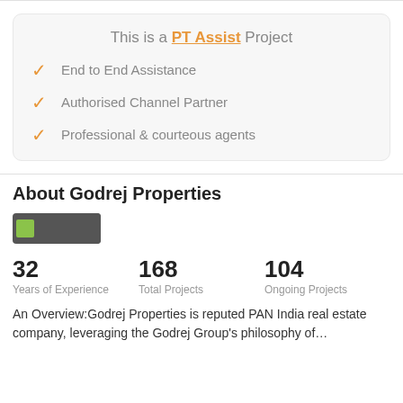This is a PT Assist Project
End to End Assistance
Authorised Channel Partner
Professional & courteous agents
About Godrej Properties
[Figure (logo): Godrej Properties logo on dark background]
32 Years of Experience
168 Total Projects
104 Ongoing Projects
An Overview:Godrej Properties is reputed PAN India real estate company, leveraging the Godrej Group's philosophy of...